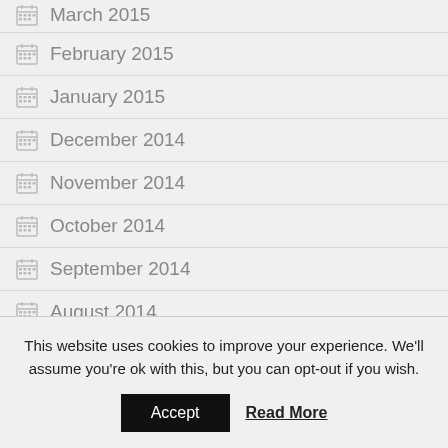March 2015
February 2015
January 2015
December 2014
November 2014
October 2014
September 2014
August 2014
This website uses cookies to improve your experience. We'll assume you're ok with this, but you can opt-out if you wish.
Accept | Read More